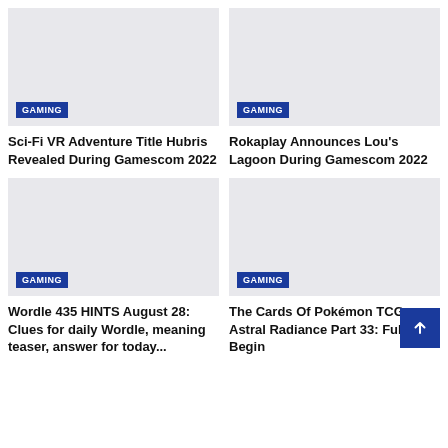[Figure (photo): Gray placeholder image with GAMING badge]
Sci-Fi VR Adventure Title Hubris Revealed During Gamescom 2022
[Figure (photo): Gray placeholder image with GAMING badge]
Rokaplay Announces Lou's Lagoon During Gamescom 2022
[Figure (photo): Gray placeholder image with GAMING badge]
Wordle 435 HINTS August 28: Clues for daily Wordle, meaning teaser, answer for today...
[Figure (photo): Gray placeholder image with GAMING badge]
The Cards Of Pokémon TCG: Astral Radiance Part 33: Full Arts Begin